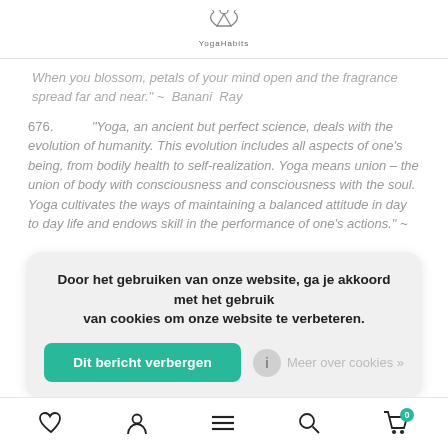YogaHabits logo
When you blossom, petals of your mind open and the fragrance spread far and near." ~ Banani Ray
676. "Yoga, an ancient but perfect science, deals with the evolution of humanity. This evolution includes all aspects of one's being, from bodily health to self-realization. Yoga means union – the union of body with consciousness and consciousness with the soul. Yoga cultivates the ways of maintaining a balanced attitude in day to day life and endows skill in the performance of one's actions." ~
Door het gebruiken van onze website, ga je akkoord met het gebruik van cookies om onze website te verbeteren.
Dit bericht verbergen
Meer over cookies »